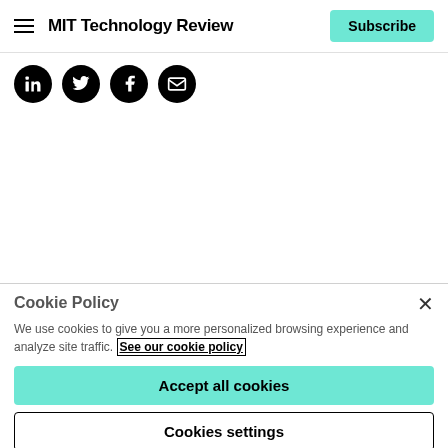MIT Technology Review | Subscribe
[Figure (other): Social media share icons: LinkedIn, Twitter, Facebook, Email — black circular buttons]
Cookie Policy
We use cookies to give you a more personalized browsing experience and analyze site traffic. See our cookie policy
Accept all cookies
Cookies settings